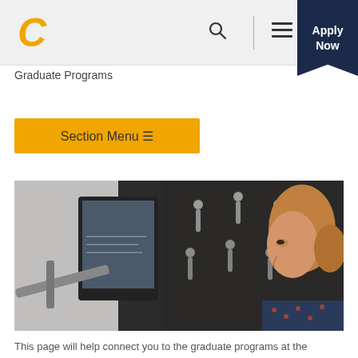Graduate Programs
Section Menu ≡
[Figure (photo): A female student in a dark floral top looking at a monitor displaying data, surrounded by exercise equipment in a lab setting with tools on a dark pegboard wall.]
This page will help connect you to the graduate programs at the University of Tennessee at Chattanooga.
Explore by College: